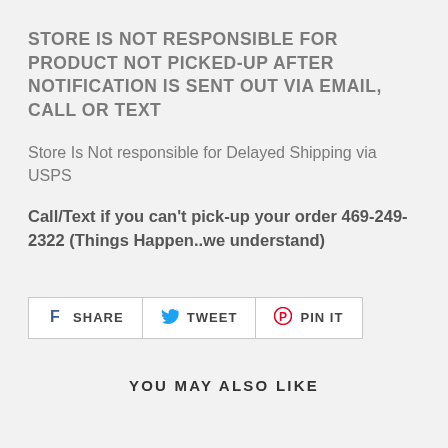STORE IS NOT RESPONSIBLE FOR PRODUCT NOT PICKED-UP AFTER NOTIFICATION IS SENT OUT VIA EMAIL, CALL OR TEXT
Store Is Not responsible for Delayed Shipping via USPS
Call/Text if you can't pick-up your order 469-249-2322 (Things Happen..we understand)
[Figure (other): Social share buttons row: SHARE (Facebook), TWEET (Twitter), PIN IT (Pinterest)]
YOU MAY ALSO LIKE